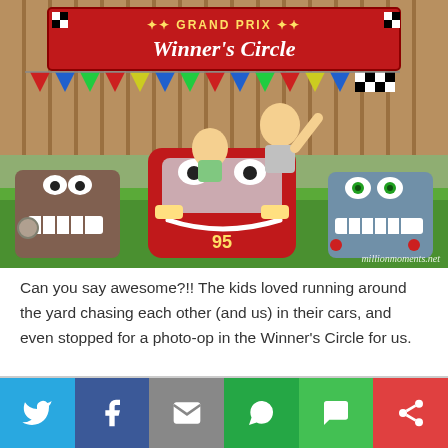[Figure (photo): Two children posing with cardboard Cars movie character cars (Mater, Lightning McQueen, Chick Hicks) in front of a Grand Prix Winner's Circle banner with colorful bunting, backyard setting. Watermark: millionmoments.net]
Can you say awesome?!!  The kids loved running around the yard chasing each other (and us) in their cars, and even stopped for a photo-op in the Winner’s Circle for us.
[Figure (infographic): Social sharing bar with icons: Twitter (blue), Facebook (dark blue), Email/envelope (gray), WhatsApp (green), SMS (green), More/share (red)]